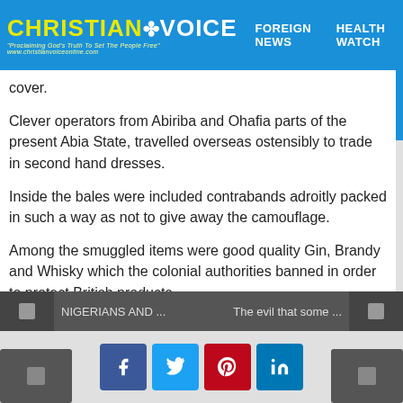CHRISTIAN VOICE | FOREIGN NEWS | HEALTH WATCH
cover.
Clever operators from Abiriba and Ohafia parts of the present Abia State, travelled overseas ostensibly to trade in second hand dresses.
Inside the bales were included contrabands adroitly packed in such a way as not to give away the camouflage.
Among the smuggled items were good quality Gin, Brandy and Whisky which the colonial authorities banned in order to protect British products.
NIGERIANS AND ... | The evil that some ...